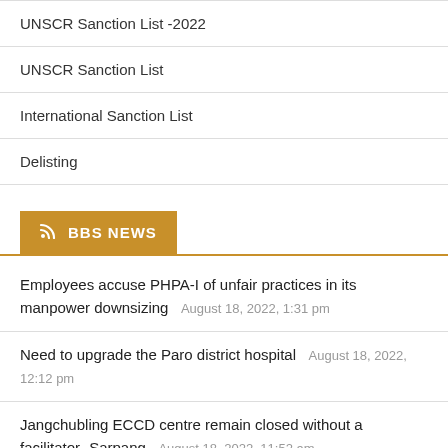UNSCR Sanction List -2022
UNSCR Sanction List
International Sanction List
Delisting
BBS NEWS
Employees accuse PHPA-I of unfair practices in its manpower downsizing  August 18, 2022, 1:31 pm
Need to upgrade the Paro district hospital  August 18, 2022, 12:12 pm
Jangchubling ECCD centre remain closed without a facilitator- Sarpang  August 18, 2022, 11:52 am